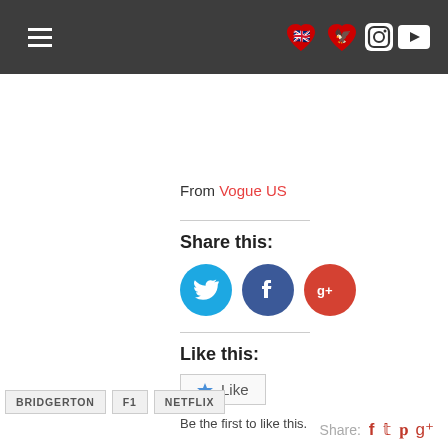Navigation header with hamburger menu and social icons
From Vogue US
Share this:
[Figure (other): Social share buttons: Twitter (blue circle), Facebook (dark blue circle), Google+ (red circle)]
Like this:
Like
Be the first to like this.
BRIDGERTON
F1
NETFLIX
Share: